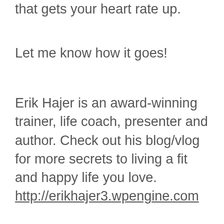that gets your heart rate up.
Let me know how it goes!
Erik Hajer is an award-winning trainer, life coach, presenter and author. Check out his blog/vlog for more secrets to living a fit and happy life you love. http://erikhajer3.wpengine.com